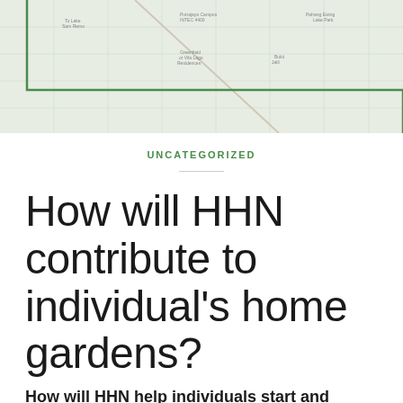[Figure (map): A street/area map with green boundary lines showing a geographic region, with grid-like street layout visible]
UNCATEGORIZED
How will HHN contribute to individual's home gardens?
How will HHN help individuals start and maintain their food gardens?
Our customers (paid or otherwise) will be able to take advantage of discounts at local nurseries, and support from local programs and